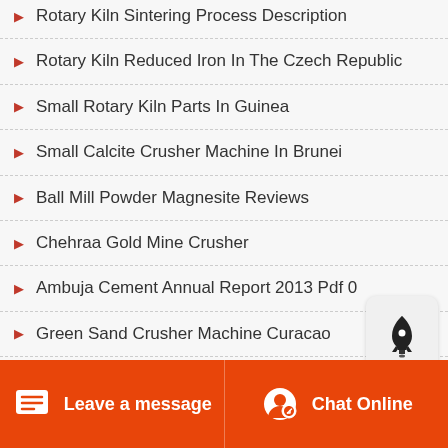Rotary Kiln Sintering Process Description
Rotary Kiln Reduced Iron In The Czech Republic
Small Rotary Kiln Parts In Guinea
Small Calcite Crusher Machine In Brunei
Ball Mill Powder Magnesite Reviews
Chehraa Gold Mine Crusher
Ambuja Cement Annual Report 2013 Pdf 0
Green Sand Crusher Machine Curacao
Mill Grinding Media Sizing
Leave a message  Chat Online